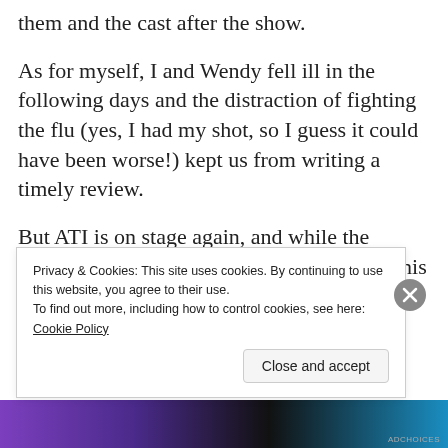them and the cast after the show.
As for myself, I and Wendy fell ill in the following days and the distraction of fighting the flu (yes, I had my shot, so I guess it could have been worse!) kept us from writing a timely review.
But ATI is on stage again, and while the previous show was for the young-at-heart, this one is a treat for actual little ones (and the parents and caretakers who read them their
Privacy & Cookies: This site uses cookies. By continuing to use this website, you agree to their use.
To find out more, including how to control cookies, see here: Cookie Policy
Close and accept